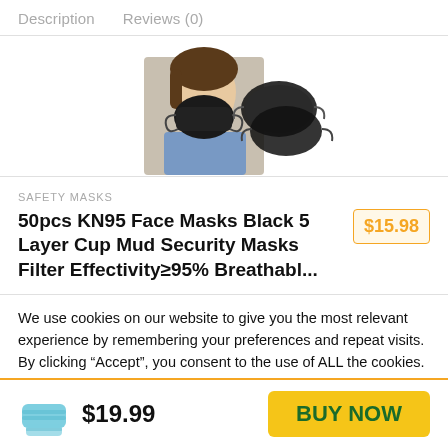Description   Reviews (0)
[Figure (photo): Woman wearing a black KN95 face mask, with additional black KN95 masks shown beside her]
SAFETY MASKS
50pcs KN95 Face Masks Black 5 Layer Cup Mud Security Masks Filter Effectivity≥95% Breathabl...
$15.98
We use cookies on our website to give you the most relevant experience by remembering your preferences and repeat visits. By clicking “Accept”, you consent to the use of ALL the cookies.
Do not sell my personal information.
$19.99   BUY NOW